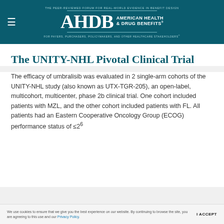THE PEER-REVIEWED FORUM FOR REAL-WORLD EVIDENCE IN BENEFIT DESIGN | AHDB AMERICAN HEALTH & DRUG BENEFITS | FOR PAYERS, PURCHASERS, POLICYMAKERS, AND OTHER HEALTHCARE STAKEHOLDERS
The UNITY-NHL Pivotal Clinical Trial
The efficacy of umbralisib was evaluated in 2 single-arm cohorts of the UNITY-NHL study (also known as UTX-TGR-205), an open-label, multicohort, multicenter, phase 2b clinical trial. One cohort included patients with MZL, and the other cohort included patients with FL. All patients had an Eastern Cooperative Oncology Group (ECOG) performance status of ≤2⁶
We use cookies to ensure that we give you the best experience on our website. By continuing to browse the site, you are agreeing to this use and our Privacy Policy.